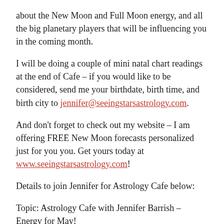about the New Moon and Full Moon energy, and all the big planetary players that will be influencing you in the coming month.
I will be doing a couple of mini natal chart readings at the end of Cafe – if you would like to be considered, send me your birthdate, birth time, and birth city to jennifer@seeingstarsastrology.com.
And don't forget to check out my website – I am offering FREE New Moon forecasts personalized just for you you. Get yours today at www.seeingstarsastrology.com!
Details to join Jennifer for Astrology Cafe below:
Topic: Astrology Cafe with Jennifer Barrish – Energy for May!
Time: Apr 24, 2020 07:00 PM Eastern Time